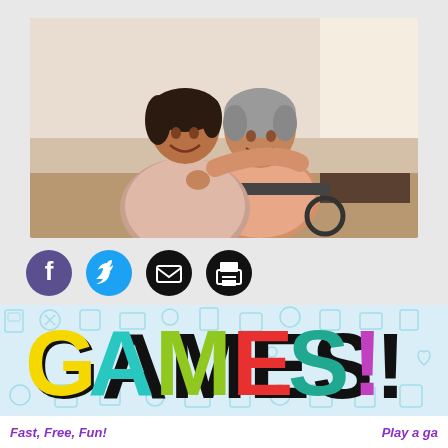[Figure (photo): Two women smiling together — a younger woman with dark hair in a pink blouse standing behind an older elderly woman in a pink/salmon shirt seated in a wheelchair, in a bright indoor setting.]
[Figure (infographic): Row of four social media / action icons: Facebook (purple circle with f), Twitter (blue circle with bird), Email (black circle with envelope), Print (black circle with printer).]
[Figure (infographic): Colorful GAMES! logo in large bold letters on a light blue doodle-pattern background. G is yellow, A is teal, M is green, E is red, S is dark teal, exclamation mark is purple/magenta.]
Fast, Free, Fun!
Play a ga